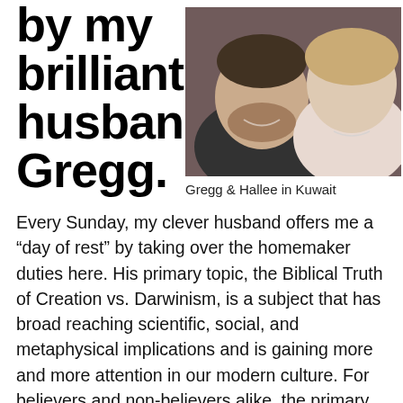by my brilliant husband, Gregg.
[Figure (photo): Photo of Gregg and Hallee together, smiling, taken in Kuwait]
Gregg & Hallee in Kuwait
Every Sunday, my clever husband offers me a “day of rest” by taking over the homemaker duties here. His primary topic, the Biblical Truth of Creation vs. Darwinism, is a subject that has broad reaching scientific, social, and metaphysical implications and is gaining more and more attention in our modern culture. For believers and non-believers alike, the primary purpose is to present scientific, historical, logical, and/or sociological data in an empirical and defensible fashion, as much as possible written in layman’s terms, and in a